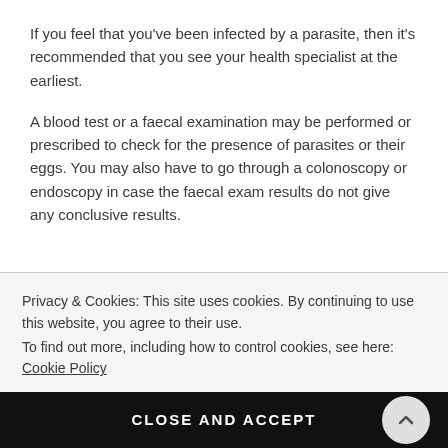If you feel that you've been infected by a parasite, then it's recommended that you see your health specialist at the earliest.
A blood test or a faecal examination may be performed or prescribed to check for the presence of parasites or their eggs. You may also have to go through a colonoscopy or endoscopy in case the faecal exam results do not give any conclusive results.
Privacy & Cookies: This site uses cookies. By continuing to use this website, you agree to their use.
To find out more, including how to control cookies, see here: Cookie Policy
CLOSE AND ACCEPT